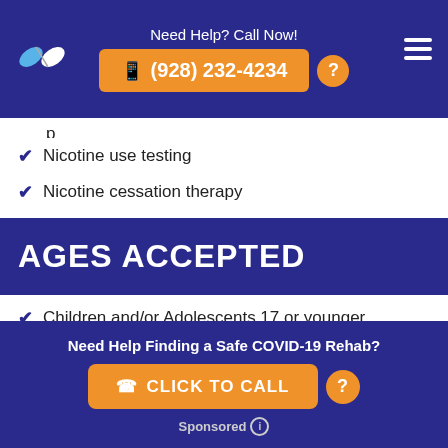Need Help? Call Now! (928) 232-4234
Nicotine use testing
Nicotine cessation therapy
AGES ACCEPTED
Children and/or Adolescents 17 or younger
Young adults ages 18 to 35
Need Help Finding a Safe COVID-19 Rehab? CLICK TO CALL Sponsored